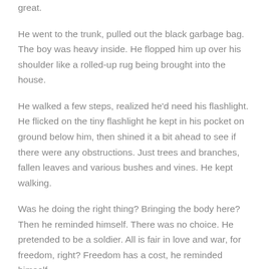great.
He went to the trunk, pulled out the black garbage bag. The boy was heavy inside. He flopped him up over his shoulder like a rolled-up rug being brought into the house.
He walked a few steps, realized he'd need his flashlight. He flicked on the tiny flashlight he kept in his pocket on ground below him, then shined it a bit ahead to see if there were any obstructions. Just trees and branches, fallen leaves and various bushes and vines. He kept walking.
Was he doing the right thing? Bringing the body here? Then he reminded himself. There was no choice. He pretended to be a soldier. All is fair in love and war, for freedom, right? Freedom has a cost, he reminded himself.
He walked through the stillness of the black night feeling a